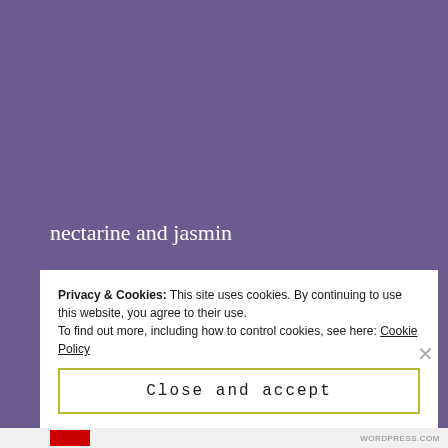nectarine and jasmin
pearl slope of your thin back arched against my hand
dieties take turns to spell focus
wisteria and moon glow
Privacy & Cookies: This site uses cookies. By continuing to use this website, you agree to their use.
To find out more, including how to control cookies, see here: Cookie Policy
Close and accept